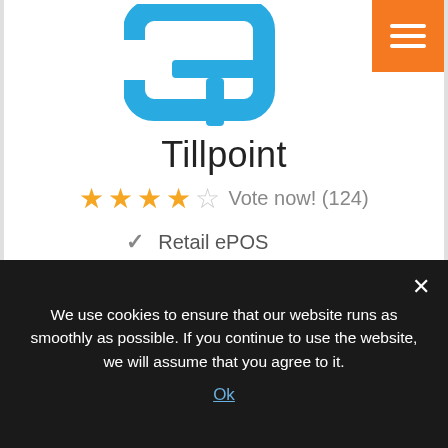[Figure (logo): Tillpoint logo - blue rounded square bracket shape with T crossbar inside]
Tillpoint
★★★★☆ Vote now! (124)
✓ Retail ePOS
✓ Restaurant ePOS
✓ UK based supplier
Read more →
Go to website →
We use cookies to ensure that our website runs as smoothly as possible. If you continue to use the website, we will assume that you agree to it.
Ok